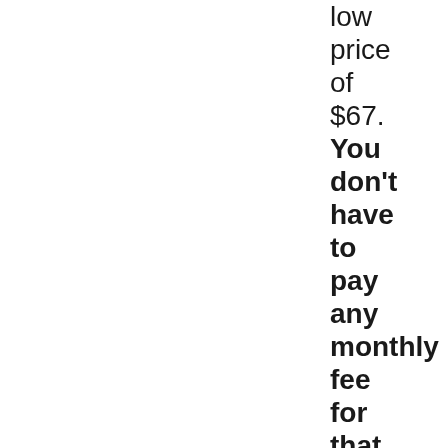low price of $67. You don't have to pay any monthly fee for that. Also, this